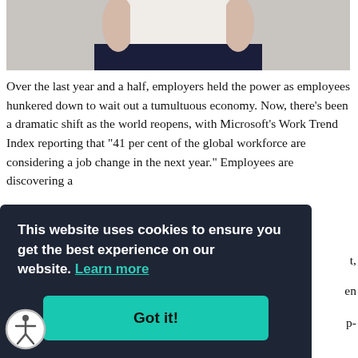[Figure (photo): Partial photo of a person wearing a white t-shirt and dark skirt, upper body visible against a gray wall background]
Over the last year and a half, employers held the power as employees hunkered down to wait out a tumultuous economy. Now, there’s been a dramatic shift as the world reopens, with Microsoft’s Work Trend Index reporting that “41 per cent of the global workforce are considering a job change in the next year.” Employees are discovering a
This website uses cookies to ensure you get the best experience on our website. Learn more
Got it!